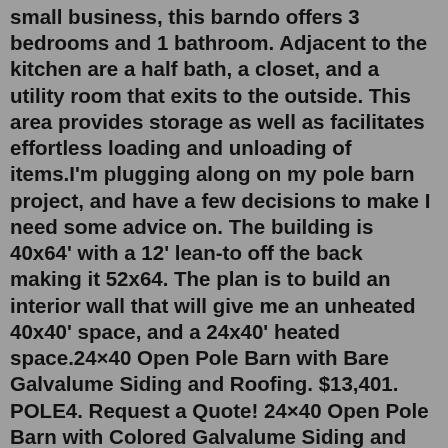small business, this barndo offers 3 bedrooms and 1 bathroom. Adjacent to the kitchen are a half bath, a closet, and a utility room that exits to the outside. This area provides storage as well as facilitates effortless loading and unloading of items.I'm plugging along on my pole barn project, and have a few decisions to make I need some advice on. The building is 40x64' with a 12' lean-to off the back making it 52x64. The plan is to build an interior wall that will give me an unheated 40x40' space, and a 24x40' heated space.24×40 Open Pole Barn with Bare Galvalume Siding and Roofing. $13,401. POLE4. Request a Quote! 24×40 Open Pole Barn with Colored Galvalume Siding and Roofing. $14,369. POL4A. Request a Quote! 24×40 Open Pole Barn with 5/8″ T111 Siding and Bare Galvalume Roofing.Pole barn two story home is one images from 24 40×40 garage plans ideas that will huge this year of House Plans photos gallery. This image has dimension 500x252 Pixel, you can click the image above to see the large or full size photo. Previous photo in the gallery is garage